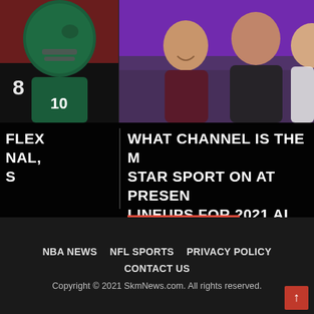[Figure (photo): Left: NFL Eagles player in teal helmet and jersey #8 (or #10) in action, overlaid on dark background. Right: Three men posing together — older man in dark shirt, tall man in patterned polo, Asian man in white polo — with purple background.]
FLEX NAL, S
WHAT CHANNEL IS THE M STAR SPORT ON AT PRESEN LINEUPS FOR 2021 AL VS. N
NBA NEWS   NFL SPORTS   PRIVACY POLICY   CONTACT US
Copyright © 2021 SkmNews.com. All rights reserved.